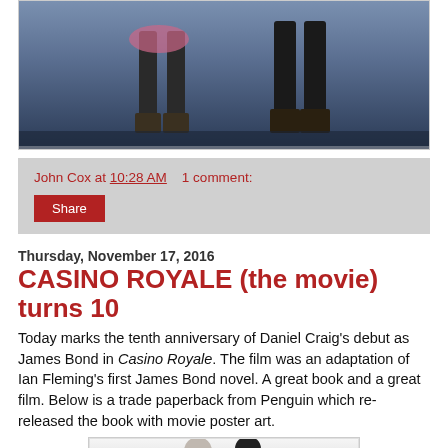[Figure (photo): Top portion of an image showing two figures' legs/lower bodies against a blue background, appears to be a movie still or promotional image]
John Cox at 10:28 AM    1 comment:
Share
Thursday, November 17, 2016
CASINO ROYALE (the movie) turns 10
Today marks the tenth anniversary of Daniel Craig's debut as James Bond in Casino Royale. The film was an adaptation of Ian Fleming's first James Bond novel. A great book and a great film. Below is a trade paperback from Penguin which re-released the book with movie poster art.
[Figure (photo): Bottom portion of a book cover or movie poster showing two people (a man and a woman) from Casino Royale]